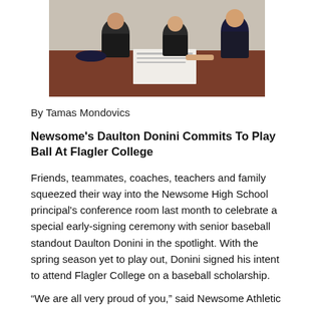[Figure (photo): Group photo of people gathered around a desk, one person signing a document, others standing behind in dark clothing.]
By Tamas Mondovics
Newsome's Daulton Donini Commits To Play Ball At Flagler College
Friends, teammates, coaches, teachers and family squeezed their way into the Newsome High School principal's conference room last month to celebrate a special early-signing ceremony with senior baseball standout Daulton Donini in the spotlight. With the spring season yet to play out, Donini signed his intent to attend Flagler College on a baseball scholarship.
“We are all very proud of you,” said Newsome Athletic